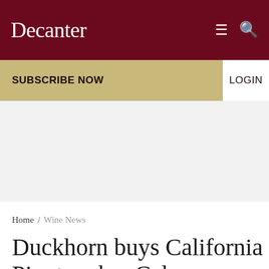Decanter
SUBSCRIBE NOW
LOGIN
Home / Wine News
Duckhorn buys California Pinot maker Calera